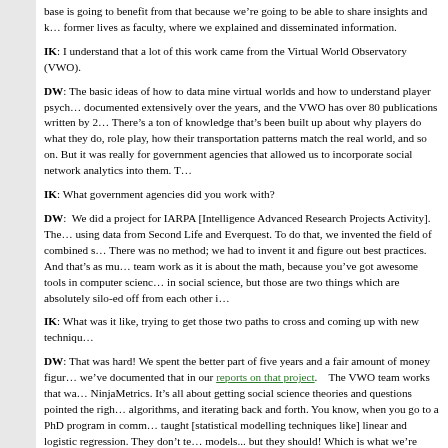base is going to benefit from that because we're going to be able to share insights and k… former lives as faculty, where we explained and disseminated information.
IK: I understand that a lot of this work came from the Virtual World Observatory (VWO).
DW: The basic ideas of how to data mine virtual worlds and how to understand player psych… documented extensively over the years, and the VWO has over 80 publications written by 2… There's a ton of knowledge that's been built up about why players do what they do, role play, how their transportation patterns match the real world, and so on. But it was really for government agencies that allowed us to incorporate social network analytics into them. T…
IK: What government agencies did you work with?
DW: We did a project for IARPA [Intelligence Advanced Research Projects Activity]. The… using data from Second Life and Everquest. To do that, we invented the field of combined s… There was no method; we had to invent it and figure out best practices. And that's as mu… team work as it is about the math, because you've got awesome tools in computer scienc… in social science, but those are two things which are absolutely silo-ed off from each other i…
IK: What was it like, trying to get those two paths to cross and coming up with new techniqu…
DW: That was hard! We spent the better part of five years and a fair amount of money figur… we've documented that in our reports on that project.  The VWO team works that wa… NinjaMetrics. It's all about getting social science theories and questions pointed the righ… algorithms, and iterating back and forth. You know, when you go to a PhD program in comm… taught [statistical modelling techniques like] linear and logistic regression. They don't te… models... but they should! Which is what we're finding. So my team does those things n…